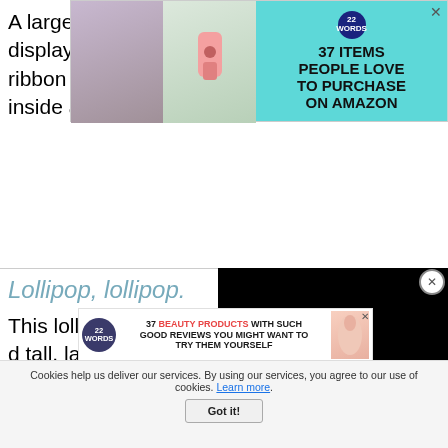[Figure (screenshot): Advertisement banner: '37 ITEMS PEOPLE LOVE TO PURCHASE ON AMAZON' with teal background, product photos, and 22 Words badge]
A large flanked heights the display.  With a checkered ribbon attached, the candies inside are clearly seen.
Lollipop, lollipop.
This lollipop arrangement was d tall, large container.  A circle of d attached to the front of each lolli applied.  The lollipops
[Figure (screenshot): Black video player overlay in bottom right]
[Figure (screenshot): Advertisement: '37 BEAUTY PRODUCTS WITH SUCH GOOD REVIEWS YOU MIGHT WANT TO TRY THEM YOURSELF' with 22 Words badge]
Cookies help us deliver our services. By using our services, you agree to our use of cookies. Learn more.
Got it!